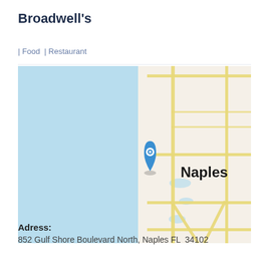Broadwell's
| Food | Restaurant
[Figure (map): Street map of Naples, FL showing location pin on Gulf Shore Boulevard North near the coastline. Left half shows light blue water (Gulf of Mexico), right half shows street grid with yellow roads. 'Naples' label visible. Blue teardrop location pin marker placed on the coast.]
Adress: 852 Gulf Shore Boulevard North, Naples FL 34102